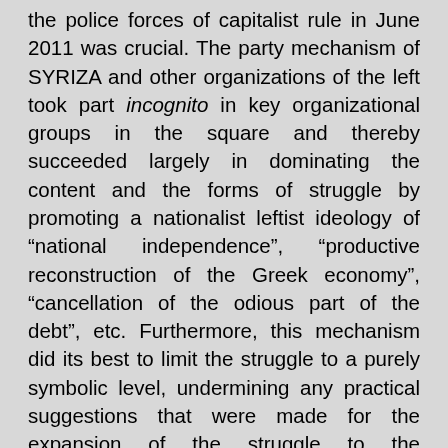the police forces of capitalist rule in June 2011 was crucial. The party mechanism of SYRIZA and other organizations of the left took part incognito in key organizational groups in the square and thereby succeeded largely in dominating the content and the forms of struggle by promoting a nationalist leftist ideology of "national independence", "productive reconstruction of the Greek economy", "cancellation of the odious part of the debt", etc. Furthermore, this mechanism did its best to limit the struggle to a purely symbolic level, undermining any practical suggestions that were made for the expansion of the struggle to the workplaces and the unemployment offices, while it promoted provocateurology against those that clashed with the forces of order in mass demonstrations at that time.